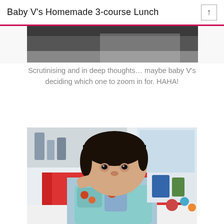Baby V's Homemade 3-course Lunch
[Figure (photo): Partial top view of a baby photo, cropped at the top of the page]
Scrutinising and in deep thoughts… maybe baby V's deciding which one to zoom in for. HAHA!
[Figure (photo): Photo of a baby/toddler with short dark hair, wearing a colorful bib with owl pattern, sitting in a red high chair and eating with hand, kitchen/living room background visible]